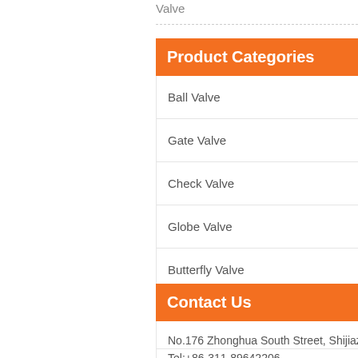Valve
Product Categories
Ball Valve
Gate Valve
Check Valve
Globe Valve
Butterfly Valve
Cast Iron/Ductile Iron Valve
Contact Us
No.176 Zhonghua South Street, Shijiazhuang, China
Tel:+86-311-89642206
Fax:+86-311-67906676